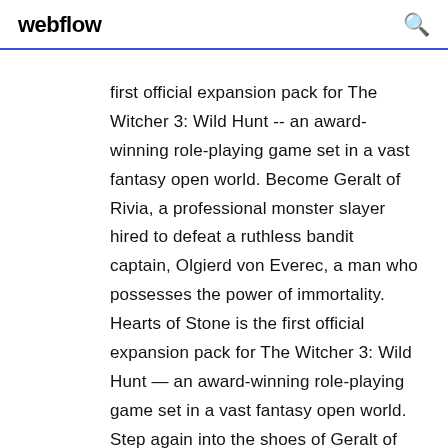webflow
first official expansion pack for The Witcher 3: Wild Hunt -- an award-winning role-playing game set in a vast fantasy open world. Become Geralt of Rivia, a professional monster slayer hired to defeat a ruthless bandit captain, Olgierd von Everec, a man who possesses the power of immortality. Hearts of Stone is the first official expansion pack for The Witcher 3: Wild Hunt — an award-winning role-playing game set in a vast fantasy open world. Step again into the shoes of Geralt of Rivia, a professional monster slayer, this time hired to defeat a ruthless bandit captain, Olgierd von Everec — a man who possesses the power of immortality.